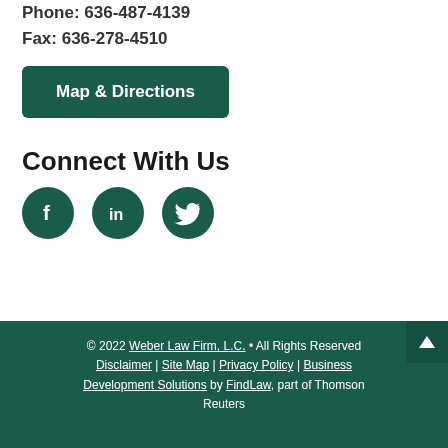Phone: 636-487-4139
Fax: 636-278-4510
Map & Directions
Connect With Us
[Figure (illustration): Three social media icons: Facebook, LinkedIn, Twitter — dark green circles with white logos]
© 2022 Weber Law Firm, L.C. • All Rights Reserved Disclaimer | Site Map | Privacy Policy | Business Development Solutions by FindLaw, part of Thomson Reuters